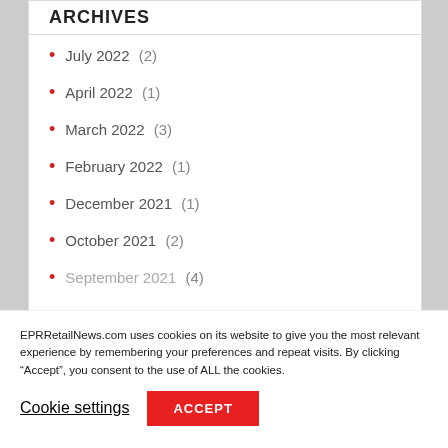ARCHIVES
July 2022 (2)
April 2022 (1)
March 2022 (3)
February 2022 (1)
December 2021 (1)
October 2021 (2)
September 2021 (4)
EPRRetailNews.com uses cookies on its website to give you the most relevant experience by remembering your preferences and repeat visits. By clicking “Accept”, you consent to the use of ALL the cookies.